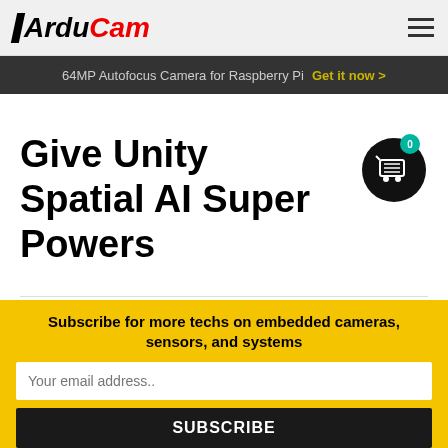ArduCam — navigation bar with hamburger menu
64MP Autofocus Camera for Raspberry Pi  Get it now >
Give Unity Spatial AI Super Powers
[Figure (screenshot): Screenshot of Unity editor with a scene showing sky and a dark object in the foreground, with a yellow dropdown panel on the right]
Subscribe for more techs on embedded cameras, sensors, and systems
Your email address..
SUBSCRIBE